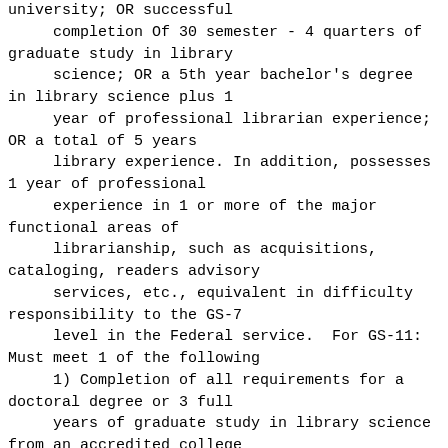university; OR successful completion Of 30 semester - 4 quarters of graduate study in library science; OR a 5th year bachelor's degree in library science plus 1 year of professional librarian experience; OR a total of 5 years library experience. In addition, possesses 1 year of professional experience in 1 or more of the major functional areas of librarianship, such as acquisitions, cataloging, readers advisory services, etc., equivalent in difficulty responsibility to the GS-7 level in the Federal service.  For GS-11: Must meet 1 of the following 1) Completion of all requirements for a doctoral degree or 3 full years of graduate study in library science from an accredited college or university; OR, 2) The qualification